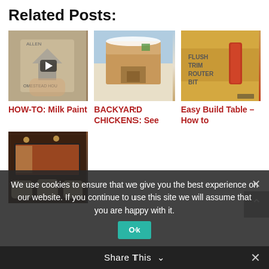Related Posts:
[Figure (photo): Hand holding a bag with homestead house illustration, with video play button overlay]
HOW-TO: Milk Paint
[Figure (photo): Backyard chicken coop in snow]
BACKYARD CHICKENS: See
[Figure (photo): Flush trim router bit on wooden surface with text written on wood]
Easy Build Table – How to
[Figure (photo): Home theater room with large screen and cream colored seats]
We use cookies to ensure that we give you the best experience on our website. If you continue to use this site we will assume that you are happy with it.
Ok
Share This ∨